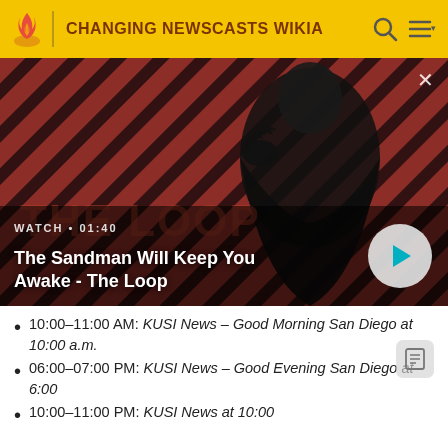CHANGING NEWSCASTS WIKIA
[Figure (screenshot): Video thumbnail showing The Sandman figure on a red diagonal striped background with play button overlay. Label reads: WATCH • 01:40 / The Sandman Will Keep You Awake - The Loop]
10:00-11:00 AM: KUSI News – Good Morning San Diego at 10:00 a.m.
06:00-07:00 PM: KUSI News – Good Evening San Diego at 6:00
10:00-11:00 PM: KUSI News at 10:00